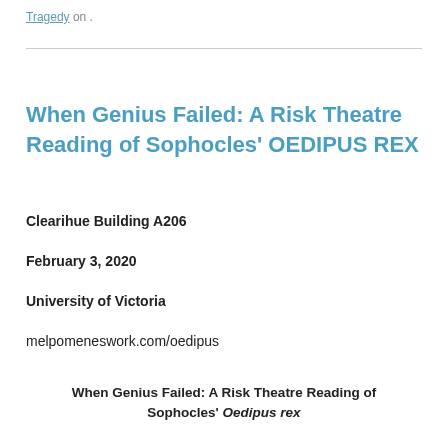Tragedy on .
When Genius Failed: A Risk Theatre Reading of Sophocles' OEDIPUS REX
Clearihue Building A206
February 3, 2020
University of Victoria
melpomeneswork.com/oedipus
When Genius Failed: A Risk Theatre Reading of Sophocles' Oedipus rex